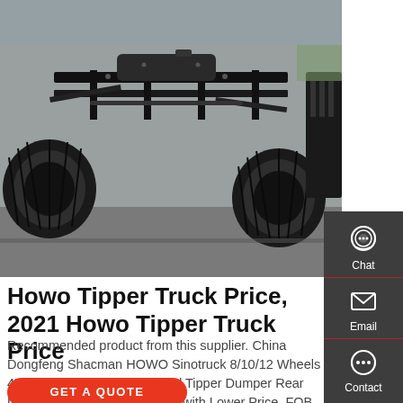[Figure (photo): Undercarriage view of a heavy duty dump/tipper truck from below, showing axles, tires, chassis frame in black, photographed at low angle on pavement.]
Howo Tipper Truck Price, 2021 Howo Tipper Truck Price
Recommended product from this supplier. China Dongfeng Shacman HOWO Sinotruck 8/10/12 Wheels 4X2 6*4 8*4 Heavy Duty Used Tipper Dumper Rear Dumping Tipping Dump Truck with Lower Price. FOB Price: US $ 21000-25000 / Piece. Min. Order: 10 Pieces.
GET A QUOTE